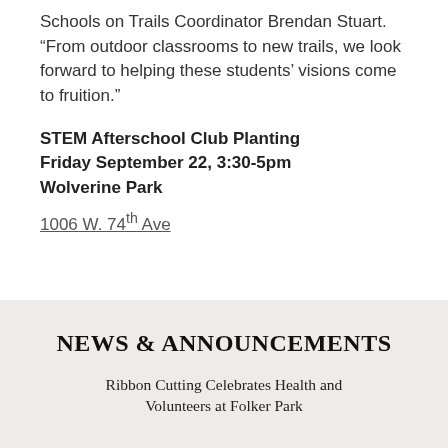Schools on Trails Coordinator Brendan Stuart. “From outdoor classrooms to new trails, we look forward to helping these students’ visions come to fruition.”
STEM Afterschool Club Planting
Friday September 22, 3:30-5pm
Wolverine Park
1006 W. 74th Ave
NEWS & ANNOUNCEMENTS
Ribbon Cutting Celebrates Health and Volunteers at Folker Park